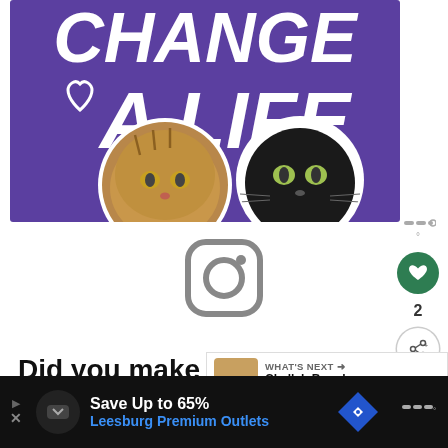[Figure (illustration): Purple banner/advertisement image with large bold white text 'CHANGE A LIFE', a heart outline, and two cat face photos (one tabby cat, one black cat) with white outlined circular cutouts on a purple background.]
[Figure (logo): Instagram logo icon in gray outline style]
Did you make this recipe?
[Figure (infographic): WHAT'S NEXT arrow label with a thumbnail image of Challah Bread and text 'Challah Bread (My Favorite...']
[Figure (infographic): Advertisement bar for Leesburg Premium Outlets: Save Up to 65%, with logo and blue diamond navigation icon]